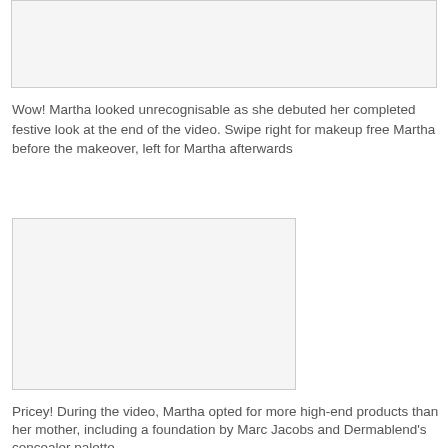[Figure (photo): Empty image placeholder at top of page]
Wow! Martha looked unrecognisable as she debuted her completed festive look at the end of the video. Swipe right for makeup free Martha before the makeover, left for Martha afterwards
[Figure (photo): Empty image placeholder in middle of page]
Pricey! During the video, Martha opted for more high-end products than her mother, including a foundation by Marc Jacobs and Dermablend's concealer palette
She applied Nudestix's liquid bronzer in shade eight to